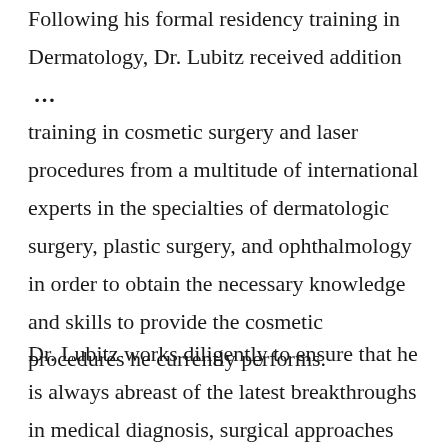Following his formal residency training in Dermatology, Dr. Lubitz received addition … training in cosmetic surgery and laser procedures from a multitude of international experts in the specialties of dermatologic surgery, plastic surgery, and ophthalmology in order to obtain the necessary knowledge and skills to provide the cosmetic procedures he currently performs.
Dr. Lubitz works diligently to ensure that he is always abreast of the latest breakthroughs in medical diagnosis, surgical approaches and